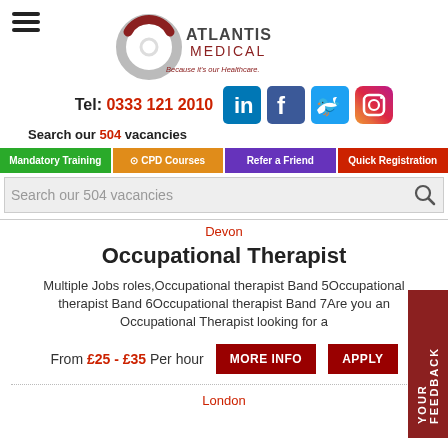[Figure (logo): Atlantis Medical logo with circular red/grey ring and text 'ATLANTIS MEDICAL Because it's our Healthcare']
Tel: 0333 121 2010
[Figure (infographic): Social media icons: LinkedIn, Facebook, Twitter, Instagram]
Search our 504 vacancies
Mandatory Training
CPD Courses
Refer a Friend
Quick Registration
Search our 504 vacancies
Devon
Occupational Therapist
Multiple Jobs roles,Occupational therapist Band 5Occupational therapist Band 6Occupational therapist Band 7Are you an Occupational Therapist looking for a
From £25 - £35 Per hour
MORE INFO
APPLY
London